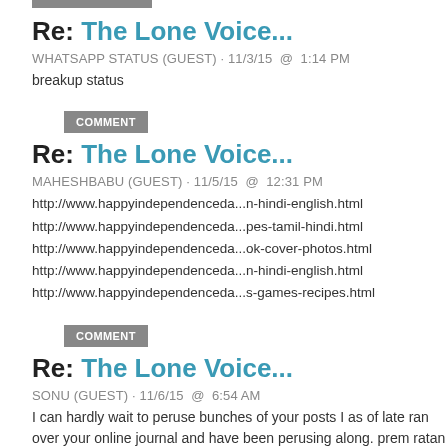Re: The Lone Voice...
WHATSAPP STATUS (GUEST) · 11/3/15  @  1:14 PM
breakup status
COMMENT
Re: The Lone Voice...
MAHESHBABU (GUEST) · 11/5/15  @  12:31 PM
http://www.happyindependenceda...n-hindi-english.html
http://www.happyindependenceda...pes-tamil-hindi.html
http://www.happyindependenceda...ok-cover-photos.html
http://www.happyindependenceda...n-hindi-english.html
http://www.happyindependenceda...s-games-recipes.html
COMMENT
Re: The Lone Voice...
SONU (GUEST) · 11/6/15  @  6:54 AM
I can hardly wait to peruse bunches of your posts I as of late ran over your online journal and have been perusing along. prem ratan dhan payo online watch.